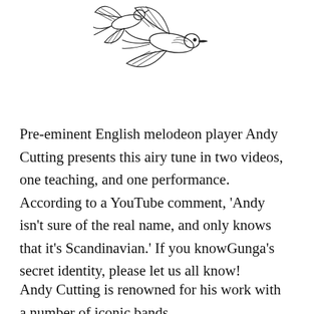[Figure (illustration): Pen-and-ink illustration of two birds (swallows or swifts) in flight, with detailed wing feathers, shown from a top-down angle, partially cropped at the top of the page.]
Pre-eminent English melodeon player Andy Cutting presents this airy tune in two videos, one teaching, and one performance. According to a YouTube comment, 'Andy isn't sure of the real name, and only knows that it's Scandinavian.' If you knowGunga's secret identity, please let us all know!
Andy Cutting is renowned for his work with a number of iconic bands,